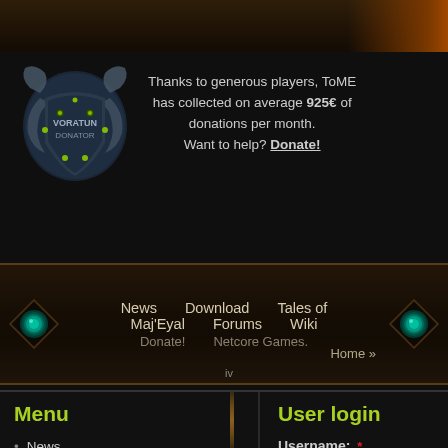[Figure (screenshot): Dark fantasy game website screenshot showing donation badge (VORATUN DONATOR), navigation bar with gems, menu section, and user login section]
Thanks to generous players, ToME has collected on average 925€ of donations per month. Want to help? Donate!
News  Download  Tales of Maj'Eyal  Forums  Wiki  Donate!  Netcore Games.  Home »
Menu
News
Download
Tales of Maj'Eyal
User login
Username: *
Username